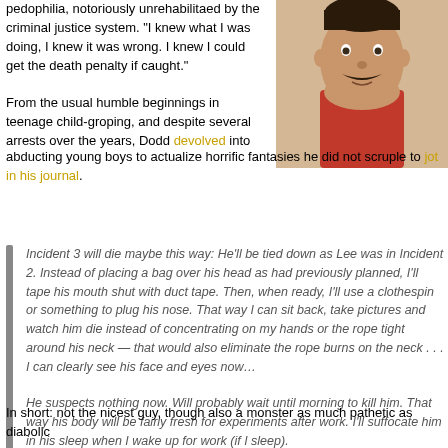pedophilia, notoriously unrehabilitaed by the criminal justice system. "I knew what I was doing, I knew it was wrong. I knew I could get the death penalty if caught."
[Figure (photo): Mugshot-style photo of a man with a mustache wearing a red shirt]
From the usual humble beginnings in teenage child-groping, and despite several arrests over the years, Dodd devolved into abducting young boys to actualize horrific fantasies he did not scruple to jot in his journal.
Incident 3 will die maybe this way: He'll be tied down as Lee was in Incident 2. Instead of placing a bag over his head as had previously planned, I'll tape his mouth shut with duct tape. Then, when ready, I'll use a clothespin or something to plug his nose. That way I can sit back, take pictures and watch him die instead of concentrating on my hands or the rope tight around his neck — that would also eliminate the rope burns on the neck . . . I can clearly see his face and eyes now…
He suspects nothing now. Will probably wait until morning to kill him. That way his body will be fairly fresh for experiments after work. I'll suffocate him in his sleep when I wake up for work (if I sleep).
In short: not the nicest guy, though also a monster as much pathetic as diabolic